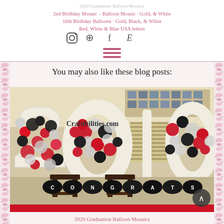2020 Graduation Balloon Mosaics
2nd Birthday Balloon Mosaic - Gold, & White
16th Birthday Balloons - Gold, Black, & White
Red, White & Blue USA letters
[Figure (screenshot): Social media icons: Instagram, Pinterest, Facebook, Etsy]
[Figure (illustration): Hamburger menu icon (three horizontal lines) in pink/red color]
You may also like these blog posts:
[Figure (photo): Photo from Craftibilities.com showing large number/letter balloon mosaics for a 2020 graduation party. The mosaics are filled with red, black, silver/white balloons. Black balloon letters spelling 'CONGRATS' are in front. The display is set up in a room with chairs in front.]
2020 Graduation Balloon Mosaics